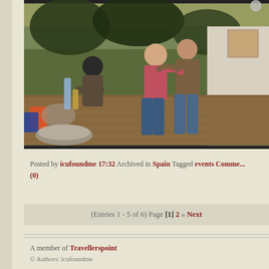[Figure (photo): Outdoor evening gathering photo showing people on a wooden deck/patio. A person in dark clothing bends over items on the left, while two people (a woman in pink and a man in brown jacket) embrace/pose in the center-right. Various items, bottles, and containers are visible on the deck. Trees and a white building wall with a wooden window are in the background.]
Posted by icufoundme 17:32 Archived in Spain Tagged events Comments (0)
(Entries 1 - 5 of 6) Page [1] 2 » Next
A member of Travellerspoint
© Authors: icufoundme